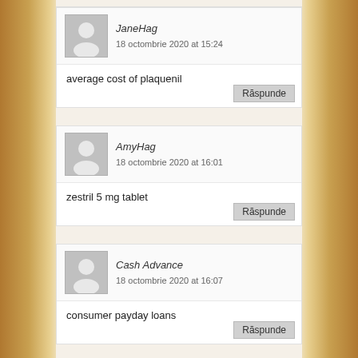JaneHag
18 octombrie 2020 at 15:24
average cost of plaquenil
AmyHag
18 octombrie 2020 at 16:01
zestril 5 mg tablet
Cash Advance
18 octombrie 2020 at 16:07
consumer payday loans
JaneHag
18 octombrie 2020 at 18:51